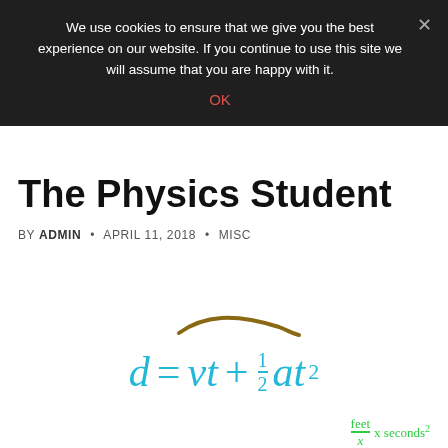We use cookies to ensure that we give you the best experience on our website. If you continue to use this site we will assume that you are happy with it.
OK
The Physics Student
BY ADMIN · APRIL 11, 2018 · MISC
[Figure (illustration): Decorative curved line/swoosh graphic element in brown/tan color]